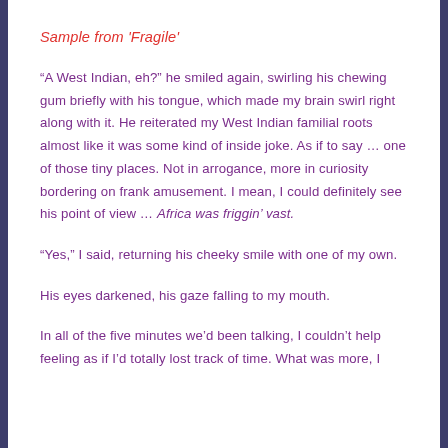Sample from 'Fragile'
“A West Indian, eh?” he smiled again, swirling his chewing gum briefly with his tongue, which made my brain swirl right along with it. He reiterated my West Indian familial roots almost like it was some kind of inside joke. As if to say … one of those tiny places. Not in arrogance, more in curiosity bordering on frank amusement. I mean, I could definitely see his point of view … Africa was friggin’ vast.
“Yes,” I said, returning his cheeky smile with one of my own.
His eyes darkened, his gaze falling to my mouth.
In all of the five minutes we’d been talking, I couldn’t help feeling as if I’d totally lost track of time. What was more, I